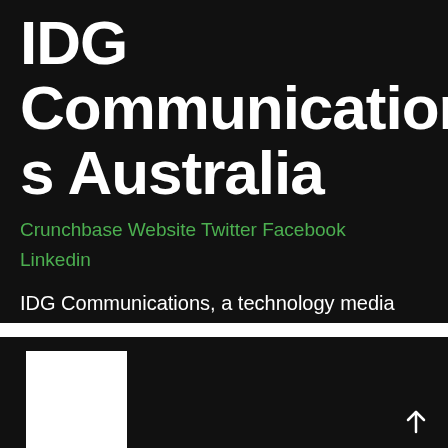IDG Communications Australia
Crunchbase Website Twitter Facebook Linkedin
IDG Communications, a technology media company, offers services for the people who buy, influence, and consume technology.
[Figure (other): White rectangle placeholder image on black background with an up arrow icon in the bottom right corner]